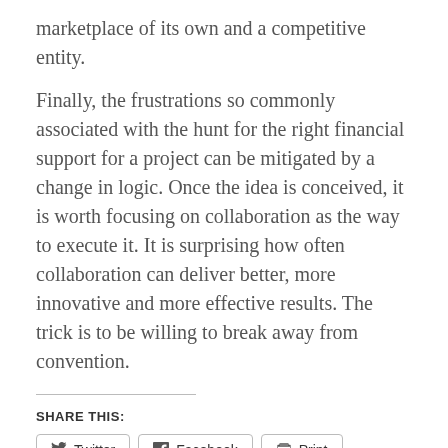marketplace of its own and a competitive entity.
Finally, the frustrations so commonly associated with the hunt for the right financial support for a project can be mitigated by a change in logic. Once the idea is conceived, it is worth focusing on collaboration as the way to execute it. It is surprising how often collaboration can deliver better, more innovative and more effective results. The trick is to be willing to break away from convention.
SHARE THIS:
Twitter  Facebook  Print  Email  LinkedIn  Tumblr  Reddit  Pinterest